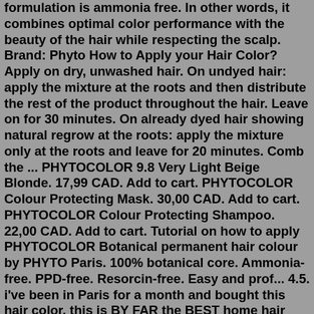formulation is ammonia free. In other words, it combines optimal color performance with the beauty of the hair while respecting the scalp. Brand: Phyto How to Apply your Hair Color? Apply on dry, unwashed hair. On undyed hair: apply the mixture at the roots and then distribute the rest of the product throughout the hair. Leave on for 30 minutes. On already dyed hair showing natural regrow at the roots: apply the mixture only at the roots and leave for 20 minutes. Comb the ... PHYTOCOLOR 9.8 Very Light Beige Blonde. 17,99 CAD. Add to cart. PHYTOCOLOR Colour Protecting Mask. 30,00 CAD. Add to cart. PHYTOCOLOR Colour Protecting Shampoo. 22,00 CAD. Add to cart. Tutorial on how to apply PHYTOCOLOR Botanical permanent hair colour by PHYTO Paris. 100% botanical core. Ammonia-free. PPD-free. Resorcin-free. Easy and prof... 4.5. i've been in Paris for a month and bought this hair color. this is BY FAR the BEST home hair color i've ever tried. Color adheres to my hair very well and I love the shade for my dark